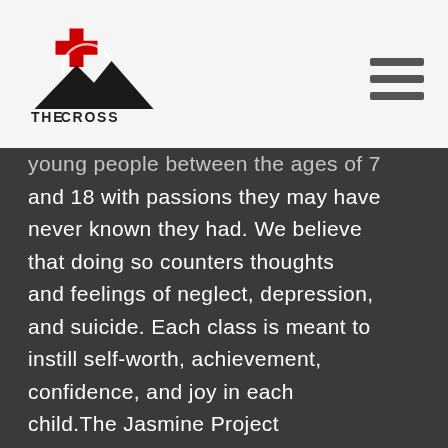THE CROSS CHURCH
young people between the ages of 7 and 18 with passions they may have never known they had. We believe that doing so counters thoughts and feelings of neglect, depression, and suicide. Each class is meant to instill self-worth, achievement, confidence, and joy in each child.The Jasmine Project concludes it's a summer program with a ceremony honoring the children and their hard work